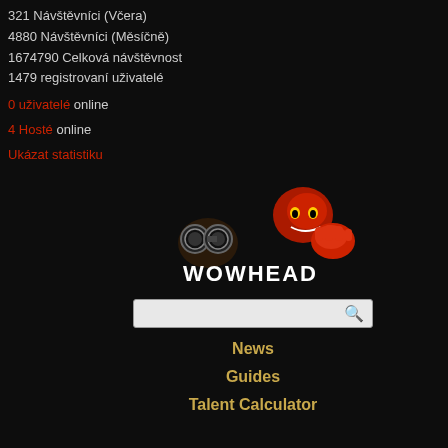321 Návštěvníci (Včera)
4880 Návštěvníci (Měsíčně)
1674790 Celková návštěvnost
1479 registrovaní uživatelé
0 uživatelé online
4 Hosté online
Ukázat statistiku
[Figure (logo): Wowhead logo with red figurine and goggles]
[Figure (screenshot): Search bar with magnifying glass icon]
News
Guides
Talent Calculator
[Figure (photo): Advertisement showing stock exchange building]
| Registrován od: | 16.02.2011 - 15:15 |
| --- | --- |
| Poslední přihlášení: | 31.05.2017 - 22:31 |
[Figure (screenshot): Dark banner with yellow O label and game scene]
n/a